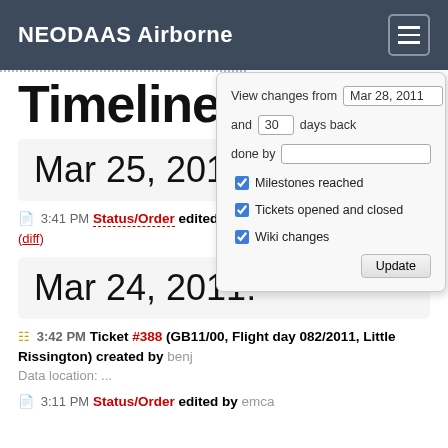NEODAAS Airborne
Timeline
Mar 25, 2011:
3:41 PM Status/Order edited by iopa
(diff)
Mar 24, 2011:
3:42 PM Ticket #388 (GB11/00, Flight day 082/2011, Little Rissington) created by benj
Data location: ...
3:11 PM Status/Order edited by emca